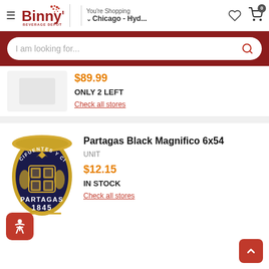Binny's Beverage Depot — You're Shopping Chicago - Hyd...
I am looking for...
$89.99
ONLY 2 LEFT
Check all stores
[Figure (photo): Partagas Black Magnifico cigar band logo — gold and black circular emblem with CIFUENTES Y CIA and PARTAGAS 1845]
Partagas Black Magnifico 6x54
UNIT
$12.15
IN STOCK
Check all stores